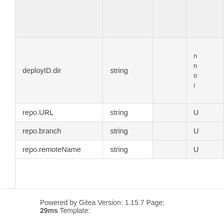| Name | Type | Required | Description |
| --- | --- | --- | --- |
|  |  |  |  |
| deployID.dir | string |  |  |
| repo.URL | string |  |  |
| repo.branch | string |  |  |
| repo.remoteName | string |  |  |
Powered by Gitea Version: 1.15.7 Page: 29ms Template: